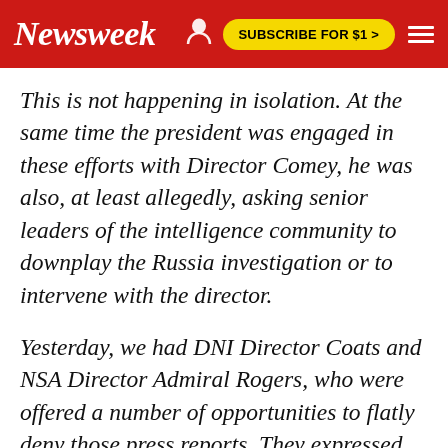Newsweek | SUBSCRIBE FOR $1 >
This is not happening in isolation. At the same time the president was engaged in these efforts with Director Comey, he was also, at least allegedly, asking senior leaders of the intelligence community to downplay the Russia investigation or to intervene with the director.
Yesterday, we had DNI Director Coats and NSA Director Admiral Rogers, who were offered a number of opportunities to flatly deny those press reports. They expressed their opinions, but they did not take that opportunity